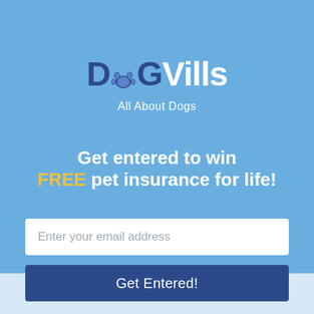[Figure (logo): DogVills logo with paw print icon replacing the 'o', dark blue and white text, tagline 'All About Dogs']
Get entered to win FREE pet insurance for life!
Enter your email address
Get Entered!